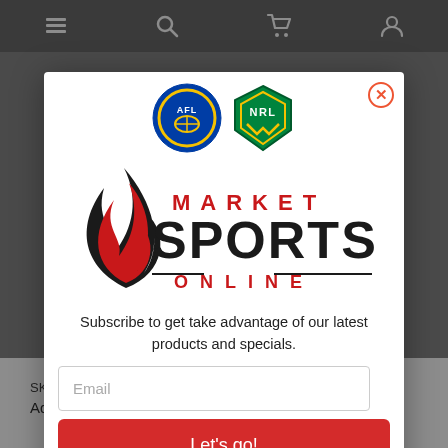Navigation bar with menu, search, cart, and user icons
[Figure (logo): Market Sports Online logo with AFL and NRL badges, flame graphic, and brand text: MARKET SPORTS ONLINE]
Subscribe to get take advantage of our latest products and specials.
Email (input placeholder)
Let's go!
SKU: 10378-004B
Adelaide Crows Lensed Chrome AFL